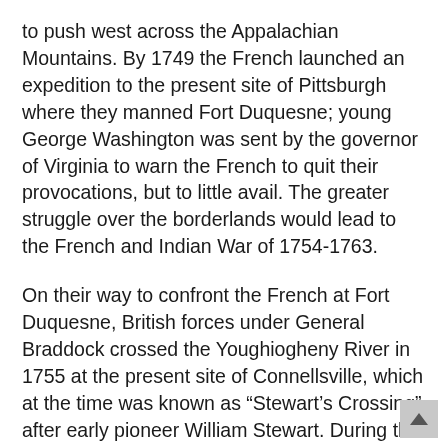to push west across the Appalachian Mountains. By 1749 the French launched an expedition to the present site of Pittsburgh where they manned Fort Duquesne; young George Washington was sent by the governor of Virginia to warn the French to quit their provocations, but to little avail. The greater struggle over the borderlands would lead to the French and Indian War of 1754-1763.
On their way to confront the French at Fort Duquesne, British forces under General Braddock crossed the Youghiogheny River in 1755 at the present site of Connellsville, which at the time was known as “Stewart’s Crossing” after early pioneer William Stewart. During the war, Colonel William Crawford of Virginia saw the lands of southwestern Pennsylvania for the first time; after the conflict was resolved